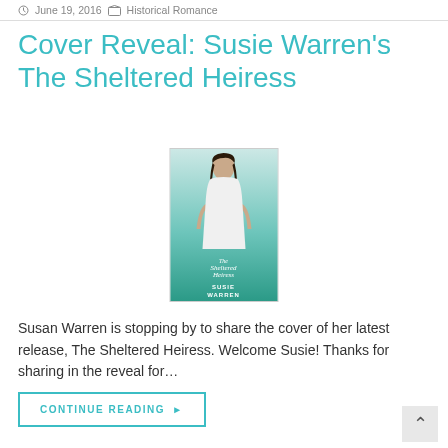June 19, 2016  Historical Romance
Cover Reveal: Susie Warren's The Sheltered Heiress
[Figure (photo): Book cover of 'The Sheltered Heiress' by Susie Warren showing a woman in white dress against a light background with teal gradient at the bottom]
Susan Warren is stopping by to share the cover of her latest release, The Sheltered Heiress. Welcome Susie! Thanks for sharing in the reveal for…
CONTINUE READING ▶